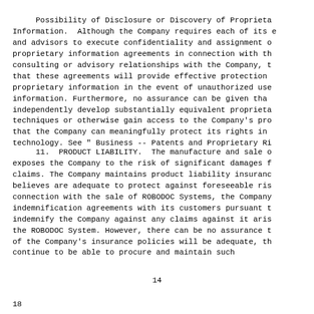Possibility of Disclosure or Discovery of Proprietary Information.  Although the Company requires each of its employees and advisors to execute confidentiality and assignment of proprietary information agreements in connection with the consulting or advisory relationships with the Company, there can be no assurance that these agreements will provide effective protection for the Company's proprietary information in the event of unauthorized use or disclosure of such information. Furthermore, no assurance can be given that competitors will not independently develop substantially equivalent proprietary information and techniques or otherwise gain access to the Company's proprietary information or that the Company can meaningfully protect its rights in unpatented proprietary technology. See " Business -- Patents and Proprietary Rights."
11.  PRODUCT LIABILITY.  The manufacture and sale of medical devices exposes the Company to the risk of significant damages from product liability claims. The Company maintains product liability insurance in amounts that it believes are adequate to protect against foreseeable risks. In addition, in connection with the sale of ROBODOC Systems, the Company seeks to obtain indemnification agreements with its customers pursuant to which such customers indemnify the Company against any claims against it arising from the use of the ROBODOC System. However, there can be no assurance that the coverage limits of the Company's insurance policies will be adequate, that the Company will continue to be able to procure and maintain such
14
18